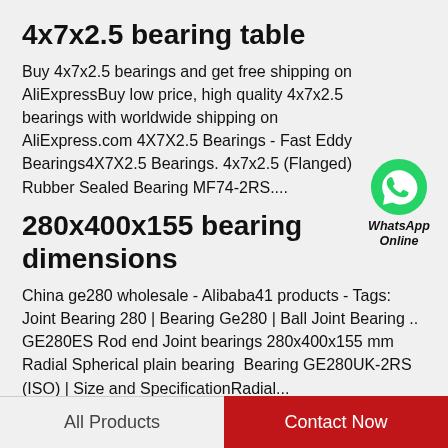4x7x2.5 bearing table
Buy 4x7x2.5 bearings and get free shipping on AliExpressBuy low price, high quality 4x7x2.5 bearings with worldwide shipping on AliExpress.com 4X7X2.5 Bearings - Fast Eddy Bearings4X7X2.5 Bearings. 4x7x2.5 (Flanged) Rubber Sealed Bearing MF74-2RS....
[Figure (logo): WhatsApp Online widget with green WhatsApp logo icon, label 'WhatsApp' and 'Online' in italic bold text]
280x400x155 bearing dimensions
China ge280 wholesale - Alibaba41 products - Tags: Joint Bearing 280 | Bearing Ge280 | Ball Joint Bearing .. GE280ES Rod end Joint bearings 280x400x155 mm Radial Spherical plain bearing  Bearing GE280UK-2RS (ISO) | Size and SpecificationRadial...
All Products    Contact Now